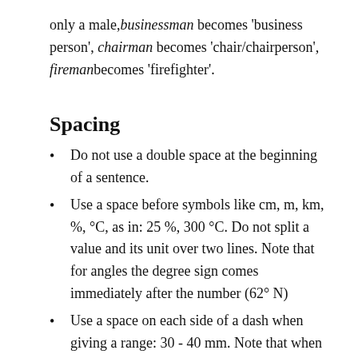only a male, businessman becomes 'business person', chairman becomes 'chair/chairperson', fireman becomes 'firefighter'.
Spacing
Do not use a double space at the beginning of a sentence.
Use a space before symbols like cm, m, km, %, °C, as in: 25 %, 300 °C. Do not split a value and its unit over two lines. Note that for angles the degree sign comes immediately after the number (62° N)
Use a space on each side of a dash when giving a range: 30 - 40 mm. Note that when giving a range in English,